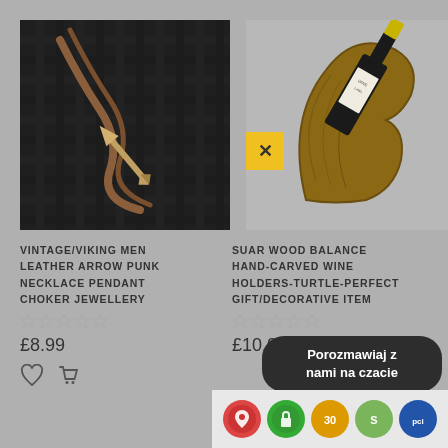[Figure (photo): Photo of a vintage/viking leather arrow punk necklace pendant on dark background]
[Figure (photo): Photo of a suar wood balance hand-carved wine holder in turtle shape holding a wine bottle, with yellow X badge overlay]
VINTAGE/VIKING MEN LEATHER ARROW PUNK NECKLACE PENDANT CHOKER JEWELLERY
SUAR WOOD BALANCE HAND-CARVED WINE HOLDERS-TURTLE-PERFECT GIFT/DECORATIVE ITEM
£8.99
£10.0
Porozmawiaj z nami na czacie